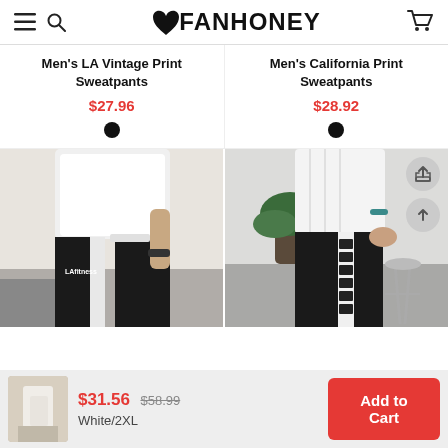FANHONEY
Men's LA Vintage Print Sweatpants
$27.96
Men's California Print Sweatpants
$28.92
[Figure (photo): Two product listing photos side by side: left shows a man wearing black sweatpants with white LA vintage stripe, right shows black sweatpants with California geometric print side stripe]
$31.56  $58.99  White/2XL
Add to Cart